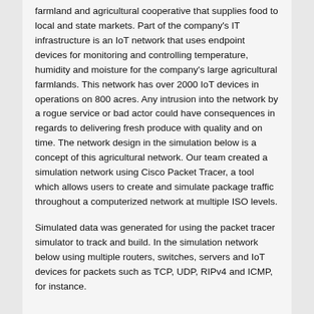farmland and agricultural cooperative that supplies food to local and state markets. Part of the company's IT infrastructure is an IoT network that uses endpoint devices for monitoring and controlling temperature, humidity and moisture for the company's large agricultural farmlands. This network has over 2000 IoT devices in operations on 800 acres. Any intrusion into the network by a rogue service or bad actor could have consequences in regards to delivering fresh produce with quality and on time. The network design in the simulation below is a concept of this agricultural network. Our team created a simulation network using Cisco Packet Tracer, a tool which allows users to create and simulate package traffic throughout a computerized network at multiple ISO levels.
Simulated data was generated for using the packet tracer simulator to track and build. In the simulation network below using multiple routers, switches, servers and IoT devices for packets such as TCP, UDP, RIPv4 and ICMP, for instance.